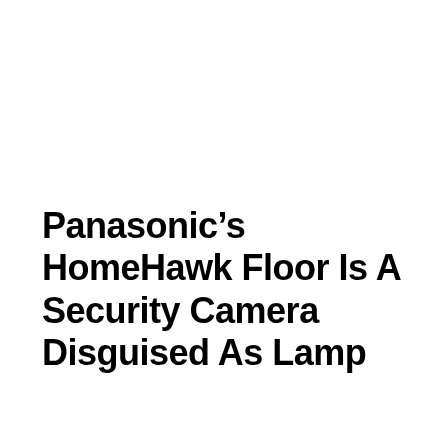Panasonic’s HomeHawk Floor Is A Security Camera Disguised As Lamp